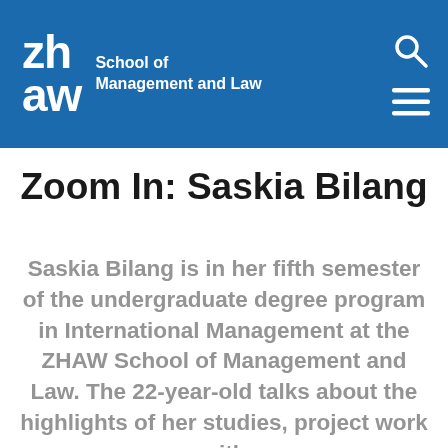zh aw School of Management and Law
Zoom In: Saskia Bilang
Saskia Bilang is in her fifth semester of the undergraduate degree program in International Management at the ZHAW School of Management and Law. The 22-year-old talks about the highlights of her studies, project work with...